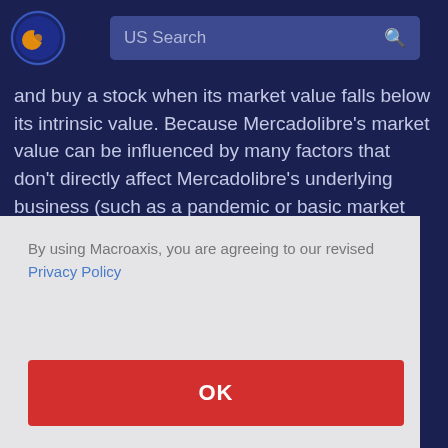US Search
and buy a stock when its market value falls below its intrinsic value. Because Mercadolibre's market value can be influenced by many factors that don't directly affect Mercadolibre's underlying business (such as a pandemic or basic market pessimism), market value can vary widely from intrinsic value.
By using Macroaxis, you are agreeing to our revised Privacy Policy
OK